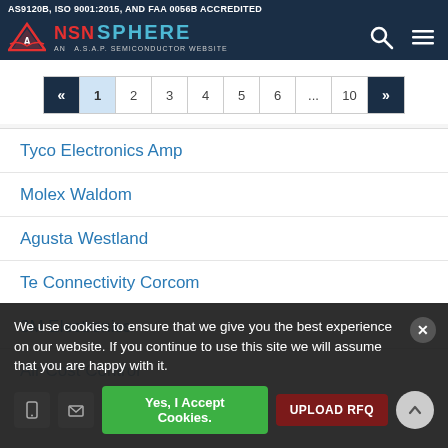AS9120B, ISO 9001:2015, AND FAA 0056B ACCREDITED
[Figure (logo): NSN Sphere logo - An A.S.A.P. Semiconductor Website with triangle icon, search and menu icons]
« 1 2 3 4 5 6 ... 10 »
Tyco Electronics Amp
Molex Waldom
Agusta Westland
Te Connectivity Corcom
3M Electronics
Air Cost Control
We use cookies to ensure that we give you the best experience on our website. If you continue to use this site we will assume that you are happy with it.
Yes, I Accept Cookies.
UPLOAD RFQ